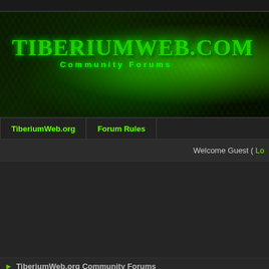[Figure (screenshot): TiberiumWeb.com Community Forums banner header with green glowing tiberium crystal background]
TiberiumWeb.com | Forum Rules
Welcome Guest ( Lo...
TiberiumWeb.org Community Forums
Welcome back; your last visit was: Today, 06:30 PM
TiberiumWeb.com